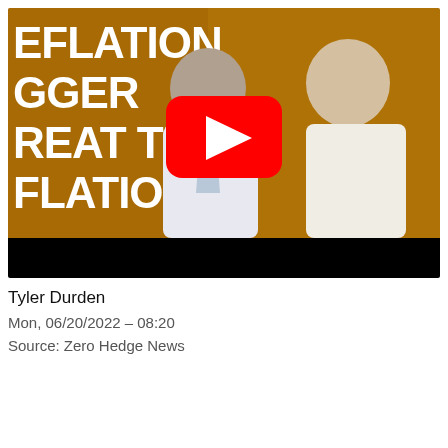[Figure (screenshot): YouTube video thumbnail showing two people — a grey-haired man in a white shirt and patterned tie, and a blonde woman in a white outfit — against a golden/amber background with large white text reading 'EFLATION GGER REAT THAN FLATION?' and a red YouTube play button overlay. The bottom portion of the thumbnail is black (letterboxing).]
Tyler Durden
Mon, 06/20/2022 – 08:20
Source: Zero Hedge News